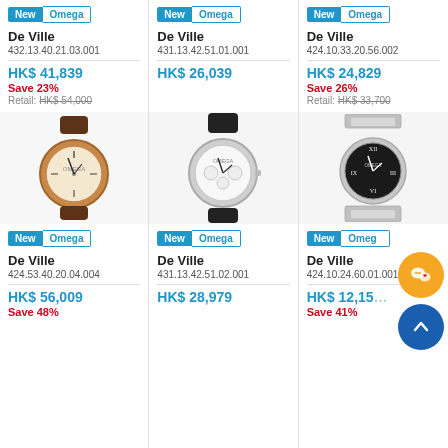[Figure (photo): Omega De Ville watch with rose gold case and brown leather strap, white dial]
[Figure (photo): Omega De Ville watch with silver case and black leather strap, white dial with chronograph]
[Figure (photo): Omega De Ville watch with silver bracelet and black dial]
New Omega | De Ville | 432.13.40.21.03.001 | HK$ 41,839 | Save 23% | Retail: HK$ 54,000
New Omega | De Ville | 431.13.42.51.01.001 | HK$ 26,039
New Omega | De Ville | 424.10.33.20.56.002 | HK$ 24,829 | Save 26% | Retail: HK$ 33,700
New Omega | De Ville | 424.53.40.20.04.004 | HK$ 56,009 | Save 48%
New Omega | De Ville | 431.13.42.51.02.001 | HK$ 28,979
New Omega | De Ville | 424.10.24.60.01.001 | HK$ 12,15… | Save 41%